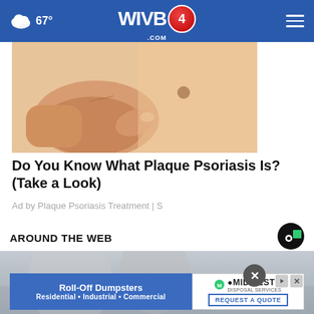67° WIVB4.COM
[Figure (photo): Close-up of a hand touching a skin spot or mole on a person's torso]
Do You Know What Plaque Psoriasis Is? (Take a Look)
Ad by Plaque Psoriasis Treatment | S
AROUND THE WEB
[Figure (logo): Outbrain logo - black circle with green square]
[Figure (photo): Partial bottom preview image, blurred/gray background scene]
[Figure (infographic): Advertisement banner: Roll-Off Dumpsters - Residential • Industrial • Commercial with Midwest Disposal Services REQUEST A QUOTE button. Close X button overlay.]